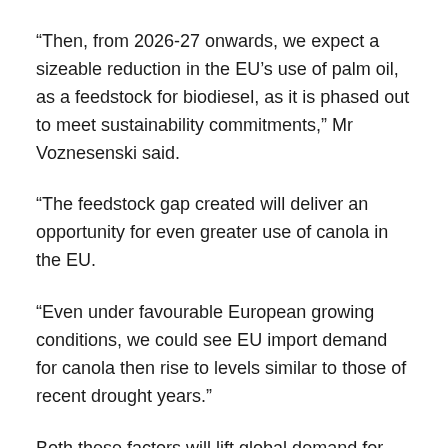“Then, from 2026-27 onwards, we expect a sizeable reduction in the EU’s use of palm oil, as a feedstock for biodiesel, as it is phased out to meet sustainability commitments,” Mr Voznesenski said.
“The feedstock gap created will deliver an opportunity for even greater use of canola in the EU.
“Even under favourable European growing conditions, we could see EU import demand for canola then rise to levels similar to those of recent drought years.”
Both these factors will lift global demand for canola, the report says.
However just how much Australian canola and canola prices will benefit will depend on a number of variables.